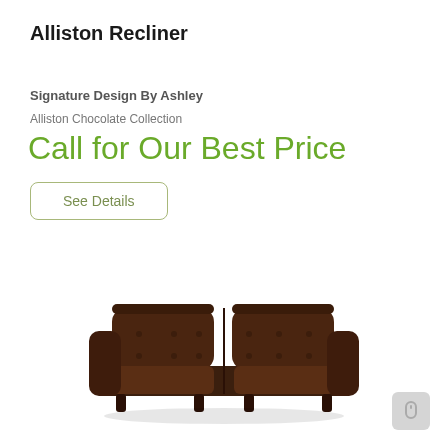Alliston Recliner
Signature Design By Ashley
Alliston Chocolate Collection
Call for Our Best Price
See Details
[Figure (photo): Dark chocolate brown leather loveseat/sofa with tufted back cushions and rolled arms, sitting on short dark legs]